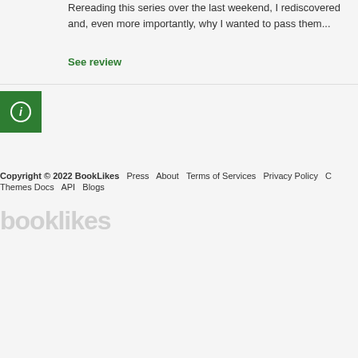Rereading this series over the last weekend, I rediscovered and, even more importantly, why I wanted to pass them...
See review
[Figure (infographic): Green square info icon with white circle containing letter i]
Copyright © 2022 BookLikes   Press   About   Terms of Services   Privacy Policy   Themes Docs   API   Blogs
[Figure (logo): booklikes watermark logo in light gray]